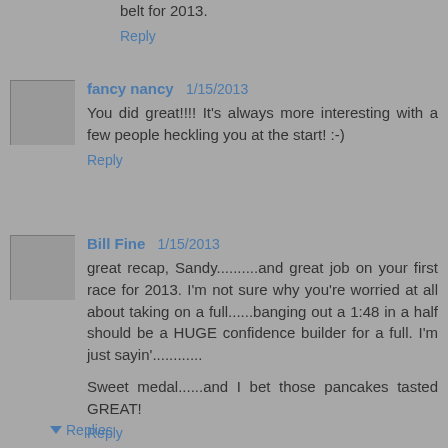belt for 2013.
Reply
fancy nancy 1/15/2013
You did great!!!! It's always more interesting with a few people heckling you at the start! :-)
Reply
Bill Fine 1/15/2013
great recap, Sandy..........and great job on your first race for 2013. I'm not sure why you're worried at all about taking on a full......banging out a 1:48 in a half should be a HUGE confidence builder for a full. I'm just sayin'............

Sweet medal......and I bet those pancakes tasted GREAT!
Reply
Replies